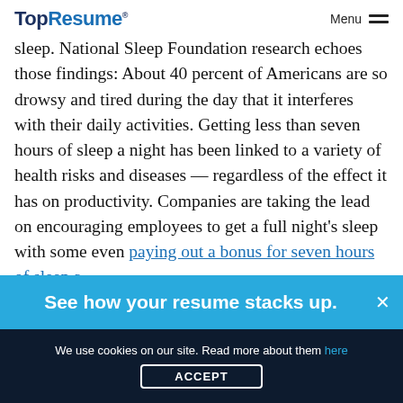TopResume® Menu
sleep. National Sleep Foundation research echoes those findings: About 40 percent of Americans are so drowsy and tired during the day that it interferes with their daily activities. Getting less than seven hours of sleep a night has been linked to a variety of health risks and diseases — regardless of the effect it has on productivity. Companies are taking the lead on encouraging employees to get a full night's sleep with some even paying out a bonus for seven hours of sleep a
[Figure (other): Blue promotional banner reading 'See how your resume stacks up.' with a close (×) button]
We use cookies on our site. Read more about them here
ACCEPT